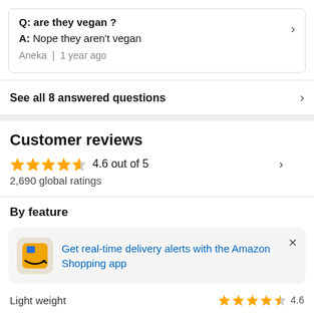Q: are they vegan ?
A: Nope they aren't vegan
Aneka | 1 year ago
See all 8 answered questions
Customer reviews
4.6 out of 5
2,690 global ratings
By feature
Get real-time delivery alerts with the Amazon Shopping app
Light weight